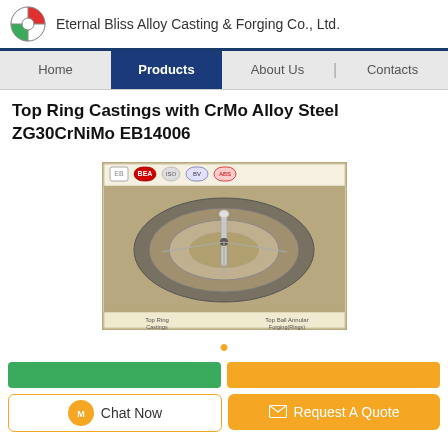Eternal Bliss Alloy Casting & Forging Co., Ltd.
Top Ring Castings with CrMo Alloy Steel ZG30CrNiMo EB14006
[Figure (photo): Product photo of a top ring casting component, showing a circular ring casting with central fixture, labeled 'Top Ring Castings' and 'Top Ball Annular Forging(Rings)'. Multiple certification logos at the top.]